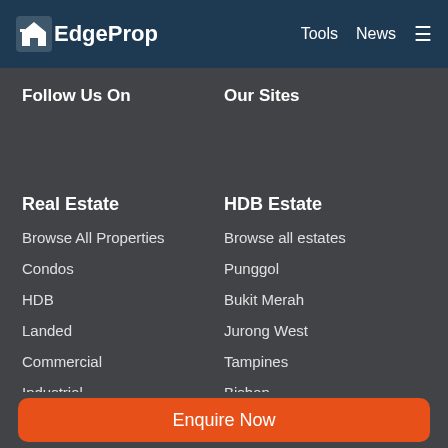EdgeProp | Tools | News
Follow Us On
Our Sites
Real Estate
Browse All Properties
Condos
HDB
Landed
Commercial
Industrial
Property Near MRT
HDB Estate
Browse all estates
Punggol
Bukit Merah
Jurong West
Tampines
Bishan
Serangoon
Enquire Now